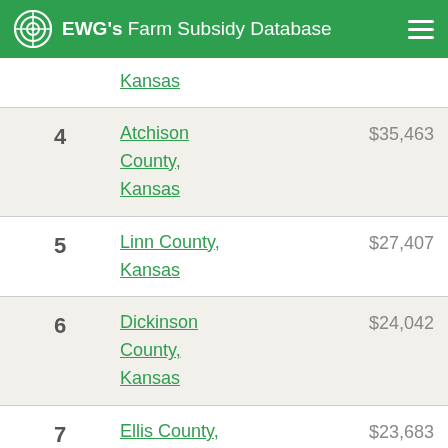EWG's Farm Subsidy Database
Kansas
4  Atchison County, Kansas  $35,463
5  Linn County, Kansas  $27,407
6  Dickinson County, Kansas  $24,042
7  Ellis County, Kansas  $23,683
8  Cowley  $23,632